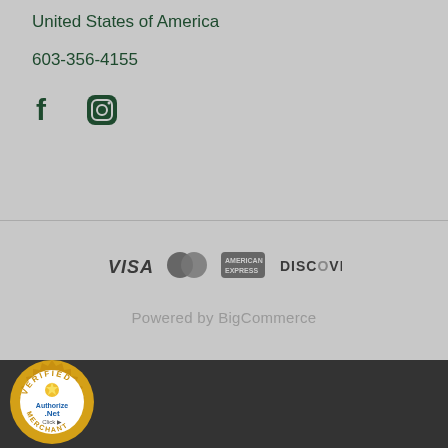United States of America
603-356-4155
[Figure (illustration): Social media icons: Facebook (f) and Instagram (camera) in dark green]
[Figure (illustration): Payment method icons: VISA, Mastercard, American Express, Discover]
Powered by BigCommerce
[Figure (logo): Authorize.Net Verified Merchant badge - circular gold seal with text VERIFIED MERCHANT and Authorize.Net Click]